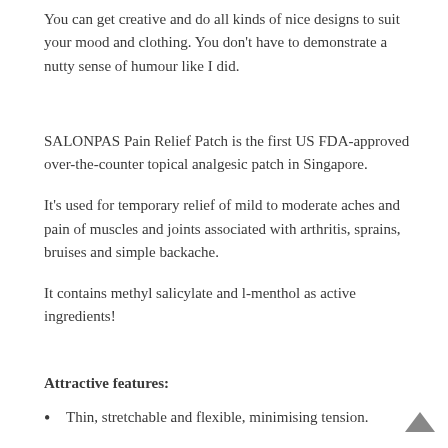You can get creative and do all kinds of nice designs to suit your mood and clothing. You don't have to demonstrate a nutty sense of humour like I did.
SALONPAS Pain Relief Patch is the first US FDA-approved over-the-counter topical analgesic patch in Singapore.
It's used for temporary relief of mild to moderate aches and pain of muscles and joints associated with arthritis, sprains, bruises and simple backache.
It contains methyl salicylate and l-menthol as active ingredients!
Attractive features:
Thin, stretchable and flexible, minimising tension.
Snug fit over joint areas.
Latex-free adhesive...